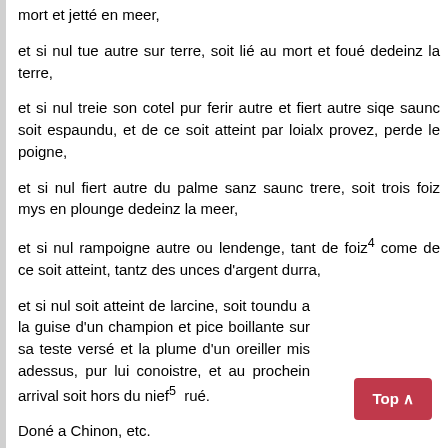mort et jetté en meer,
et si nul tue autre sur terre, soit lié au mort et foué dedeinz la terre,
et si nul treie son cotel pur ferir autre et fiert autre siqe saunc soit espaundu, et de ce soit atteint par loialx provez, perde le poigne,
et si nul fiert autre du palme sanz saunc trere, soit trois foiz mys en plounge dedeinz la meer,
et si nul rampoigne autre ou lendenge, tant de foiz⁴ come de ce soit atteint, tantz des unces d'argent durra,
et si nul soit atteint de larcine, soit toundu a la guise d'un champion et pice boillante sur sa teste versé et la plume d'un oreiller mis adessus, pur lui conoistre, et au prochein arrival soit hors du nief⁵ rué.
Doné a Chinon, etc.